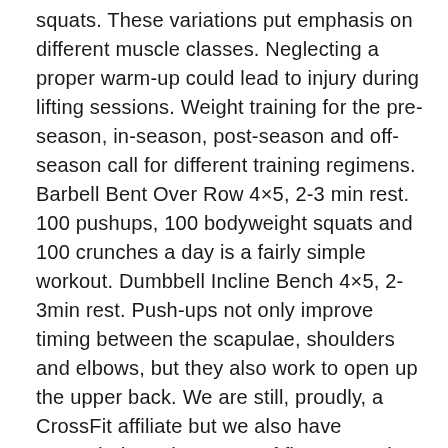squats. These variations put emphasis on different muscle classes. Neglecting a proper warm-up could lead to injury during lifting sessions. Weight training for the pre-season, in-season, post-season and off-season call for different training regimens. Barbell Bent Over Row 4×5, 2-3 min rest. 100 pushups, 100 bodyweight squats and 100 crunches a day is a fairly simple workout. Dumbbell Incline Bench 4×5, 2-3min rest. Push-ups not only improve timing between the scapulae, shoulders and elbows, but they also work to open up the upper back. We are still, proudly, a CrossFit affiliate but we also have expanded to other types of fitness services. My off-season training plan generally consists of more weight training days per week. Never did pull ups in school and remember being in 7th grade and being able to do only 1. Making this weight class all season would not have been possible without Mike's help. Let's talk about running; it will come in handy